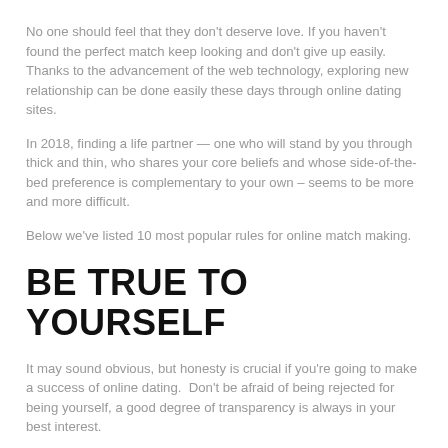No one should feel that they don't deserve love. If you haven't found the perfect match keep looking and don't give up easily. Thanks to the advancement of the web technology, exploring new relationship can be done easily these days through online dating sites.
In 2018, finding a life partner — one who will stand by you through thick and thin, who shares your core beliefs and whose side-of-the-bed preference is complementary to your own – seems to be more and more difficult.
Below we've listed 10 most popular rules for online match making.
BE TRUE TO YOURSELF
It may sound obvious, but honesty is crucial if you're going to make a success of online dating.  Don't be afraid of being rejected for being yourself, a good degree of transparency is always in your best interest.